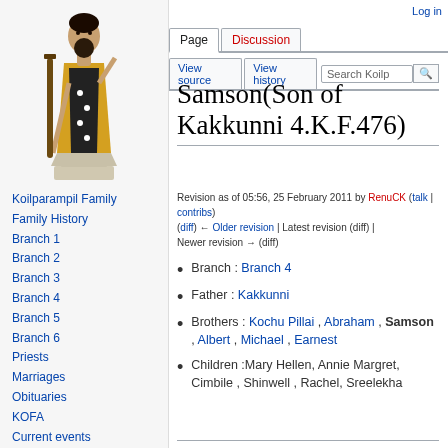[Figure (illustration): Illustration of a saint/religious figure in traditional robes holding a staff, standing on a pedestal]
Koilparampil Family
Family History
Branch 1
Branch 2
Branch 3
Branch 4
Branch 5
Branch 6
Priests
Marriages
Obituaries
KOFA
Current events
Photo Gallery
Log in
Samson(Son of Kakkunni 4.K.F.476)
Revision as of 05:56, 25 February 2011 by RenuCK (talk | contribs)
(diff) ← Older revision | Latest revision (diff) | Newer revision → (diff)
Branch : Branch 4
Father : Kakkunni
Brothers : Kochu Pillai , Abraham , Samson , Albert , Michael , Earnest
Children :Mary Hellen, Annie Margret, Cimbile , Shinwell , Rachel, Sreelekha